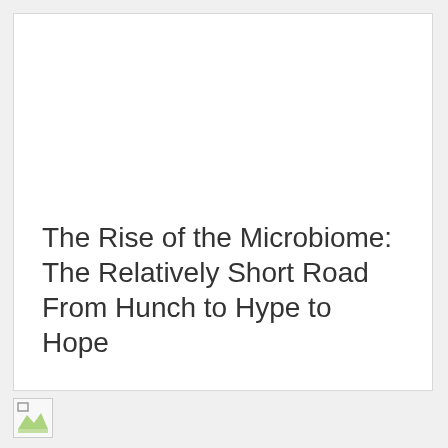The Rise of the Microbiome: The Relatively Short Road From Hunch to Hype to Hope
[Figure (photo): Broken/unloaded image placeholder below the card]